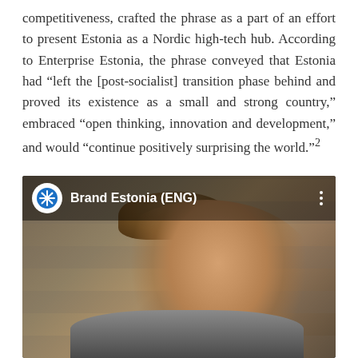competitiveness, crafted the phrase as a part of an effort to present Estonia as a Nordic high-tech hub. According to Enterprise Estonia, the phrase conveyed that Estonia had “left the [post-socialist] transition phase behind and proved its existence as a small and strong country,” embraced “open thinking, innovation and development,” and would “continue positively surprising the world.”²
[Figure (screenshot): A screenshot of a video or social media post showing a young boy looking upward with a thoughtful expression, with stone steps in the background. The overlay at the top shows a 'Brand Estonia (ENG)' channel logo and name.]